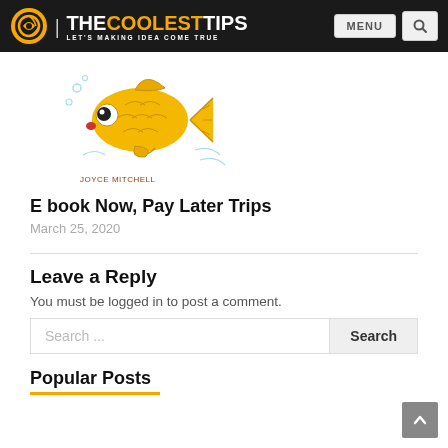THE COOLEST TIPS | LET'S MAKING IDEA COME TRUE
[Figure (illustration): Cartoon golden fish swimming underwater, with text 'JOYCE MITCHELL' below]
E book Now, Pay Later Trips
March 25, 2020
Leave a Reply
You must be logged in to post a comment.
Search ...
Popular Posts